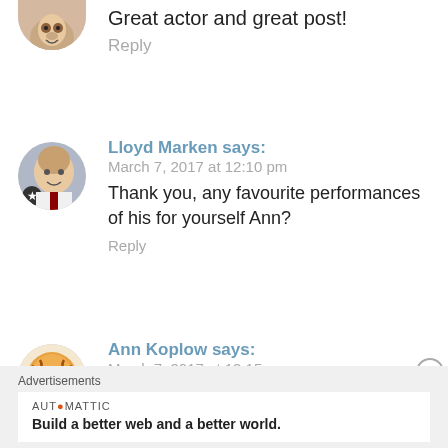Great actor and great post!
Reply
[Figure (photo): Circular avatar photo of Lloyd Marken, a man in a white shirt with a tie]
Lloyd Marken says:
March 7, 2017 at 12:10 pm
Thank you, any favourite performances of his for yourself Ann?
Reply
[Figure (photo): Circular avatar photo of Ann Koplow, a tiger with glasses]
Ann Koplow says:
March 7, 2017 at 12:15 pm
Groundhog Day, Thelma and Louise,
Advertisements
AUTOMATTIC
Build a better web and a better world.